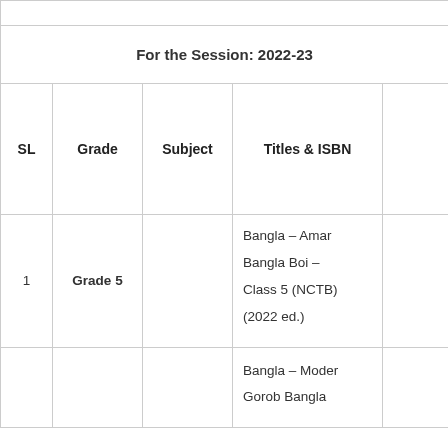| SL | Grade | Subject | Titles & ISBN |  |
| --- | --- | --- | --- | --- |
|  |  | For the Session: 2022-23 |  |  |
| SL | Grade | Subject | Titles & ISBN |  |
| 1 | Grade 5 |  | Bangla – Amar Bangla Boi – Class 5 (NCTB) (2022 ed.) |  |
|  |  |  | Bangla – Moder Gorob Bangla |  |